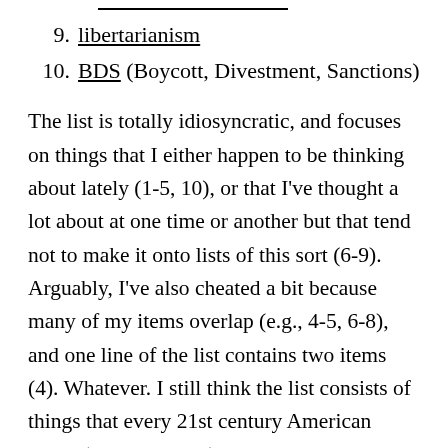9. libertarianism
10. BDS (Boycott, Divestment, Sanctions)
The list is totally idiosyncratic, and focuses on things that I either happen to be thinking about lately (1-5, 10), or that I’ve thought a lot about at one time or another but that tend not to make it onto lists of this sort (6-9). Arguably, I’ve also cheated a bit because many of my items overlap (e.g., 4-5, 6-8), and one line of the list contains two items (4). Whatever. I still think the list consists of things that every 21st century American ought (in some sense) to “know.” I don’t have time to insert hot links into my list right now, but